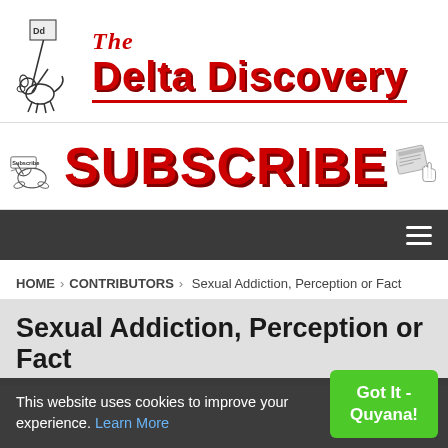[Figure (logo): The Delta Discovery newspaper logo with mascot dog holding a flag and bold red text reading 'The Delta Discovery']
[Figure (logo): Subscribe banner with seal mascot holding Subscribe sign, large red SUBSCRIBE text, and newspaper with cursor hand icon]
[Figure (screenshot): Dark navigation bar with hamburger menu icon]
HOME > CONTRIBUTORS > Sexual Addiction, Perception or Fact
Sexual Addiction, Perception or Fact
This website uses cookies to improve your experience. Learn More  Got It - Quyana!